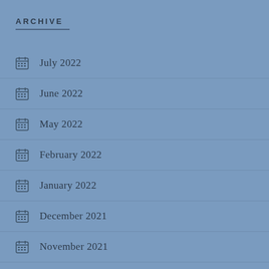ARCHIVE
July 2022
June 2022
May 2022
February 2022
January 2022
December 2021
November 2021
October 2021